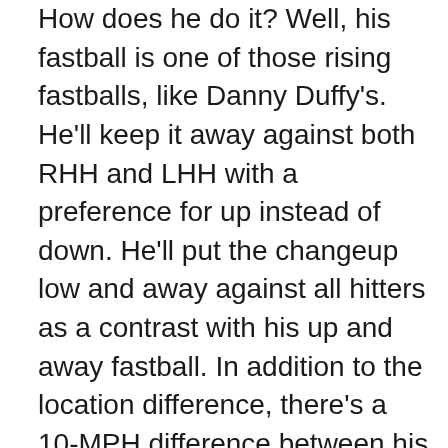How does he do it? Well, his fastball is one of those rising fastballs, like Danny Duffy's. He'll keep it away against both RHH and LHH with a preference for up instead of down. He'll put the changeup low and away against all hitters as a contrast with his up and away fastball. In addition to the location difference, there's a 10-MPH difference between his fastball and changeup. Estrada has a pretty high release point, so I would guess there is a pretty good amount of deception when combining all the factors about his fastball and changeup.

For his other pitches, he'll keep the curveball low and away to RHH, but he scatters the pitch a bit to lefties. It is usually found under the strike zone, but he's not afraid to leave it up and away to lefties. The cutter is the only pitch he'll throw inside to lefties. He keeps it